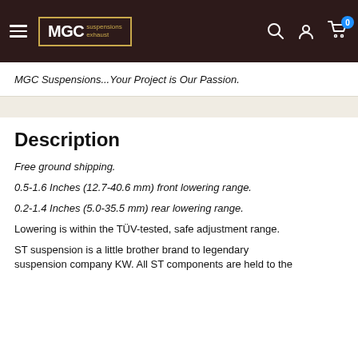MGC Suspensions Exhaust — navigation bar with logo, hamburger menu, search, account, and cart icons
MGC Suspensions...Your Project is Our Passion.
Description
Free ground shipping.
0.5-1.6 Inches (12.7-40.6 mm) front lowering range.
0.2-1.4 Inches (5.0-35.5 mm) rear lowering range.
Lowering is within the TÜV-tested, safe adjustment range.
ST suspension is a little brother brand to legendary suspension company KW. All ST components are held to the